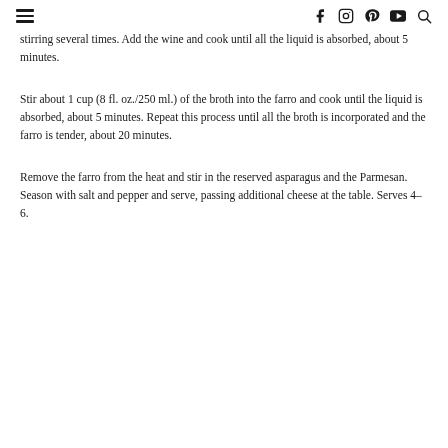[hamburger menu] [facebook] [instagram] [pinterest] [youtube] [search]
stirring several times. Add the wine and cook until all the liquid is absorbed, about 5 minutes.
Stir about 1 cup (8 fl. oz./250 ml.) of the broth into the farro and cook until the liquid is absorbed, about 5 minutes. Repeat this process until all the broth is incorporated and the farro is tender, about 20 minutes.
Remove the farro from the heat and stir in the reserved asparagus and the Parmesan. Season with salt and pepper and serve, passing additional cheese at the table. Serves 4–6.